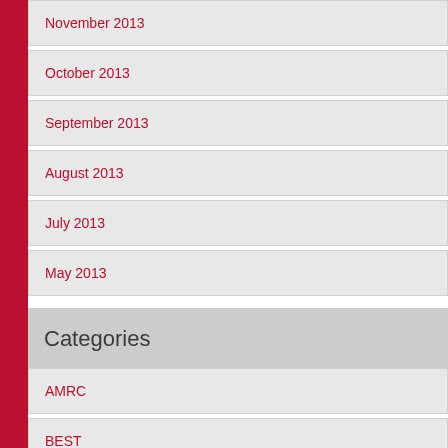November 2013
October 2013
September 2013
August 2013
July 2013
May 2013
Categories
AMRC
BEST